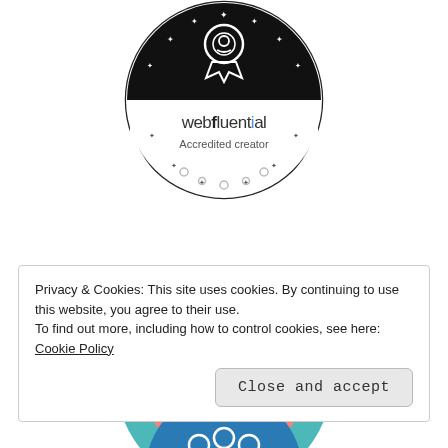[Figure (logo): Webfluential Accredited creator badge: circular black and white badge with stars around the border, a ribbon/award icon at the top, and text 'webfluential Accredited creator' in the lower half.]
[Figure (logo): Say it loud! badge: circular badge with teal outer ring and pink inner circle, featuring a party horn/popper graphic with streamers and white cursive text 'Say it loud!' along the top arc.]
Privacy & Cookies: This site uses cookies. By continuing to use this website, you agree to their use.
To find out more, including how to control cookies, see here: Cookie Policy
[Figure (logo): Partial blue badge visible at the bottom of the page.]